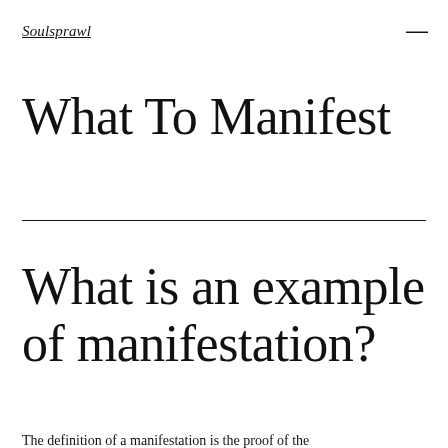Soulsprawl
What To Manifest
What is an example of manifestation?
The definition of a manifestation is the proof of the